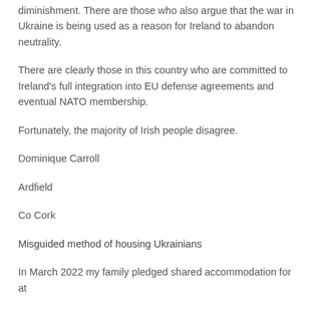diminishment. There are those who also argue that the war in Ukraine is being used as a reason for Ireland to abandon neutrality.
There are clearly those in this country who are committed to Ireland's full integration into EU defense agreements and eventual NATO membership.
Fortunately, the majority of Irish people disagree.
Dominique Carroll
Ardfield
Co Cork
Misguided method of housing Ukrainians
In March 2022 my family pledged shared accommodation for at